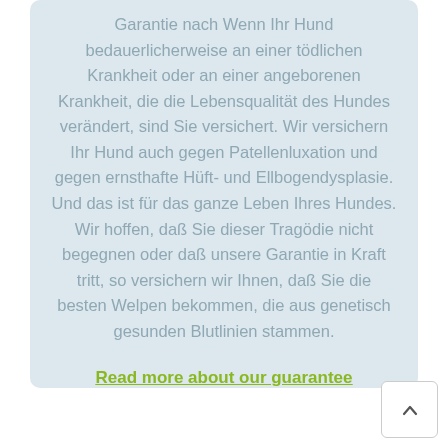Garantie nach Wenn Ihr Hund bedauerlicherweise an einer tödlichen Krankheit oder an einer angeborenen Krankheit, die die Lebensqualität des Hundes verändert, sind Sie versichert. Wir versichern Ihr Hund auch gegen Patellenluxation und gegen ernsthafte Hüft- und Ellbogendysplasie. Und das ist für das ganze Leben Ihres Hundes. Wir hoffen, daß Sie dieser Tragödie nicht begegnen oder daß unsere Garantie in Kraft tritt, so versichern wir Ihnen, daß Sie die besten Welpen bekommen, die aus genetisch gesunden Blutlinien stammen.
Read more about our guarantee